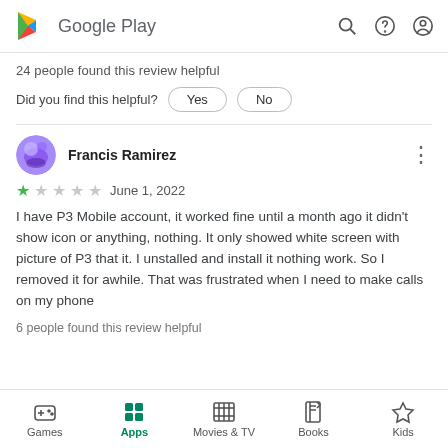Google Play
24 people found this review helpful
Did you find this helpful? Yes No
Francis Ramirez
★ June 1, 2022
I have P3 Mobile account, it worked fine until a month ago it didn't show icon or anything, nothing. It only showed white screen with picture of P3 that it. I unstalled and install it nothing work. So I removed it for awhile. That was frustrated when I need to make calls on my phone
6 people found this review helpful
Games | Apps | Movies & TV | Books | Kids